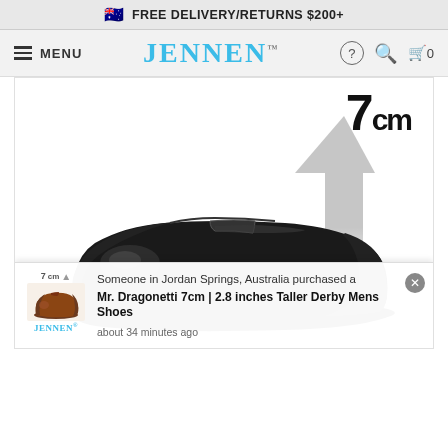FREE DELIVERY/RETURNS $200+
MENU | JENNEN™ | (?) Search Cart 0
[Figure (photo): Black leather slip-on dress shoe shown in side profile with a large up arrow and '7cm' label indicating the height increase provided by the hidden elevator sole]
Someone in Jordan Springs, Australia purchased a Mr. Dragonetti 7cm | 2.8 inches Taller Derby Mens Shoes about 34 minutes ago